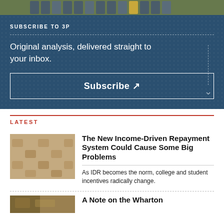[Figure (photo): Top portion of a photo showing people in uniforms (band or military group)]
SUBSCRIBE TO 3P
Original analysis, delivered straight to your inbox.
Subscribe ↗
LATEST
[Figure (photo): Rows of wooden auditorium or lecture hall chairs, tan/brown color]
The New Income-Driven Repayment System Could Cause Some Big Problems
As IDR becomes the norm, college and student incentives radically change.
[Figure (photo): Partial photo, colorful, partially visible at bottom]
A Note on the Wharton